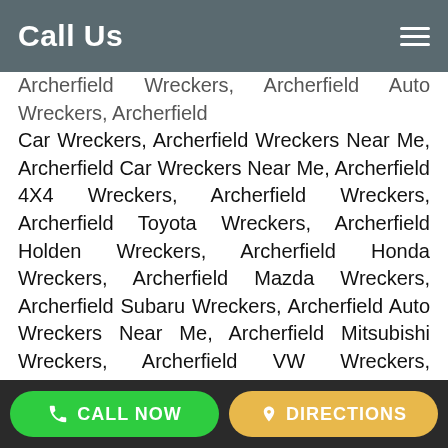Call Us
Archerfield Wreckers, Archerfield Auto Wreckers, Archerfield Car Wreckers, Archerfield Wreckers Near Me, Archerfield Car Wreckers Near Me, Archerfield 4X4 Wreckers, Archerfield Wreckers, Archerfield Toyota Wreckers, Archerfield Holden Wreckers, Archerfield Honda Wreckers, Archerfield Mazda Wreckers, Archerfield Subaru Wreckers, Archerfield Auto Wreckers Near Me, Archerfield Mitsubishi Wreckers, Archerfield VW Wreckers, Archerfield Mercedes Wreckers, Archerfield Auto Dismantlers, Archerfield Ford Wreckers Near Me, Archerfield Jap Wreckers, Archerfield Toyota Wreckers Near Me, Archerfield European Car Wreckers, Archerfield Volkswagen Wreckers, Archerfield Kia Wreckers, Archerfield Holden Wreckers Near Me, Archerfield Japanese Auto Wreckers, Archerfield Toyota Hilux Wreckers, Archerfield All Jap Wreckers, Archerfield Motor Wreckers, Archerfield Peugeot Wreckers, Archerfield Japanese Wreckers, Archerfield Mercedes Benz Wreckers, Archerfield Daibatsu Wreckers
CALL NOW   DIRECTIONS